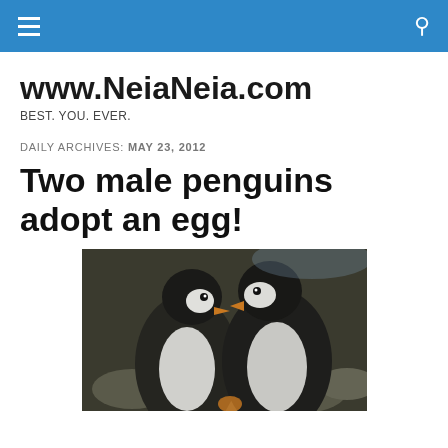www.NeiaNeia.com — navigation bar with hamburger menu and search icon
www.NeiaNeia.com
BEST. YOU. EVER.
DAILY ARCHIVES: MAY 23, 2012
Two male penguins adopt an egg!
[Figure (photo): Two penguins facing each other closely, with rocky ground in background. Dark-colored penguins with white chest markings.]